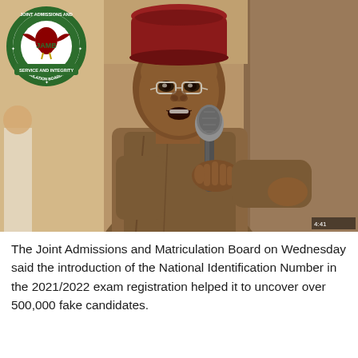[Figure (photo): A man wearing a dark red/maroon traditional cap and glasses, speaking into a microphone, dressed in a brown traditional outfit. The JAMB (Joint Admissions and Matriculation Board) logo is overlaid in the top-left corner of the image.]
The Joint Admissions and Matriculation Board on Wednesday said the introduction of the National Identification Number in the 2021/2022 exam registration helped it to uncover over 500,000 fake candidates.